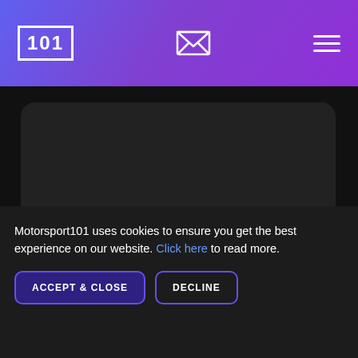101 [logo with mail icon and hamburger menu]
[Figure (screenshot): Dark rounded rectangle content area on dark background]
Motorsport101 uses cookies to ensure you get the best experience on our website. Click here to read more.
ACCEPT & CLOSE | DECLINE